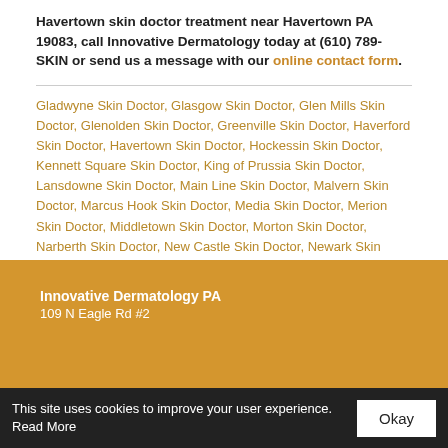Havertown skin doctor treatment near Havertown PA 19083, call Innovative Dermatology today at (610) 789-SKIN or send us a message with our online contact form.
Gladwyne Skin Doctor, Glasgow Skin Doctor, Glen Mills Skin Doctor, Glenolden Skin Doctor, Greenville Skin Doctor, Haverford Skin Doctor, Havertown Skin Doctor, Hockessin Skin Doctor, Kennett Square Skin Doctor, King of Prussia Skin Doctor, Lansdowne Skin Doctor, Main Line Skin Doctor, Malvern Skin Doctor, Marcus Hook Skin Doctor, Media Skin Doctor, Merion Skin Doctor, Middletown Skin Doctor, Morton Skin Doctor, Narberth Skin Doctor, New Castle Skin Doctor, Newark Skin Doctor, Newport Skin Doctor, Newtown Square Skin Doctor
Innovative Dermatology PA
109 N Eagle Rd #2
This site uses cookies to improve your user experience. Read More